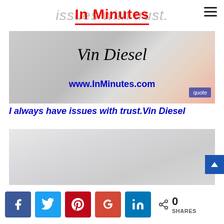In Minutes
[Figure (photo): Vin Diesel quote banner with floral background. Text reads 'Vin Diesel' in cursive and 'www.InMinutes.com' in blue bold. Quote button in corner.]
I always have issues with trust.Vin Diesel
[Figure (photo): Light grey background image with faded text reading 'Did I offer peace today?']
0 SHARES social share bar